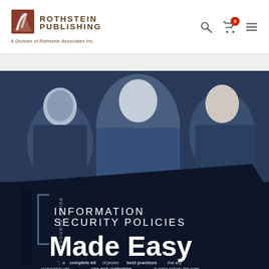[Figure (logo): Rothstein Publishing logo — quill pen icon with dark red/brown text reading ROTHSTEIN PUBLISHING, A Division of Rothstein Associates Inc.]
[Figure (photo): Book cover for 'Information Security Policies Made Easy' — a resource guide showing three people looking at a book, with large white text on dark navy background. Bottom text reads: '...a complete kit of proven best practices that any organization can use and customize to make policies that meet...']